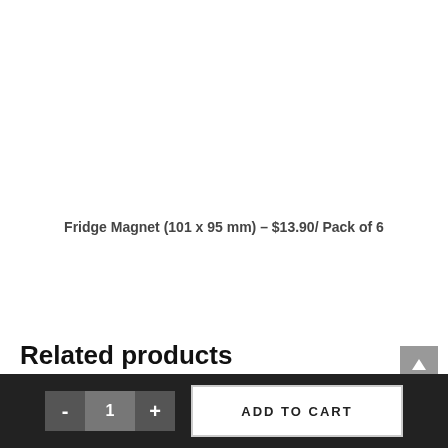Fridge Magnet (101 x 95 mm) – $13.90/ Pack of 6
Related products
- 1 + ADD TO CART